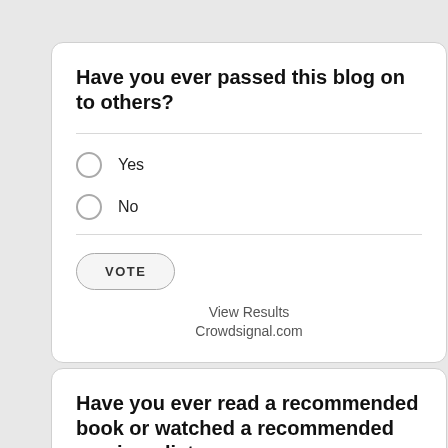Have you ever passed this blog on to others?
Yes
No
VOTE
View Results
Crowdsignal.com
Have you ever read a recommended book or watched a recommended movie or listen